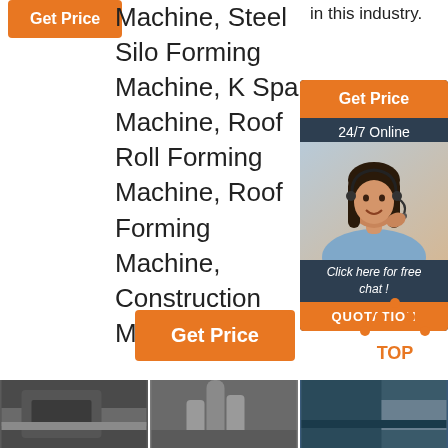Machine, Steel Silo Forming Machine, K Span Machine, Roof Roll Forming Machine, Roof Forming Machine, Construction Machine…
in this industry.
[Figure (other): Orange 'Get Price' button top left]
[Figure (other): Sidebar with Get Price button, 24/7 Online label, customer service representative photo, 'Click here for free chat!' text, and QUOTATION button]
[Figure (other): Orange 'Get Price' button center]
[Figure (other): Back to top icon with orange dots and TOP text]
[Figure (photo): Three product photos at bottom showing metal forming machine parts]